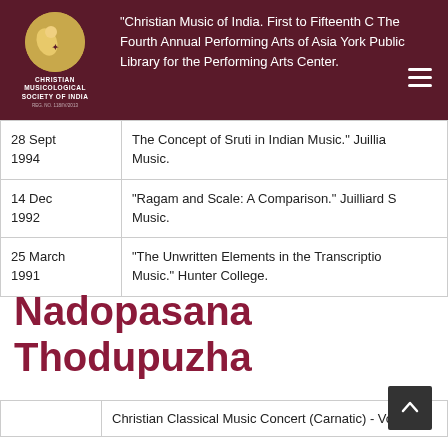"Christian Music of India. First to Fifteenth C The Fourth Annual Performing Arts of Asia York Public Library for the Performing Arts Center.
| Date | Event |
| --- | --- |
| 28 Sept 1994 | The Concept of Sruti in Indian Music." Juillia Music. |
| 14 Dec 1992 | "Ragam and Scale: A Comparison." Juilliard S Music. |
| 25 March 1991 | "The Unwritten Elements in the Transcriptio Music." Hunter College. |
Nadopasana Thodupuzha
|  |  |
| --- | --- |
|  | Christian Classical Music Concert (Carnatic) - Vocal |